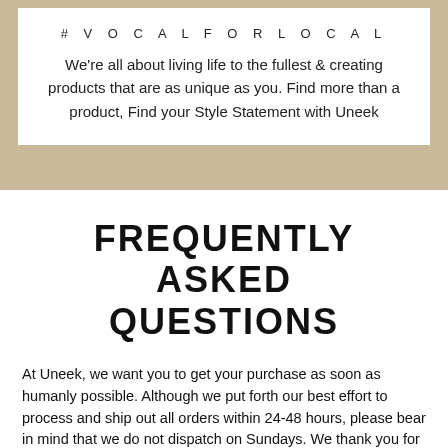#VOCALFORLOCAL
We're all about living life to the fullest & creating products that are as unique as you. Find more than a product, Find your Style Statement with Uneek
FREQUENTLY ASKED QUESTIONS
At Uneek, we want you to get your purchase as soon as humanly possible. Although we put forth our best effort to process and ship out all orders within 24-48 hours, please bear in mind that we do not dispatch on Sundays. We thank you for being patient with us. Here are some common questions: